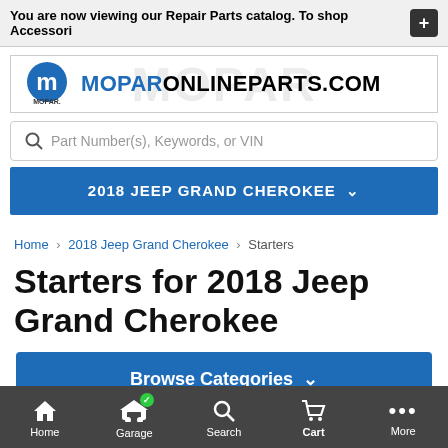You are now viewing our Repair Parts catalog. To shop Accessori
[Figure (logo): Mopar logo with circular M icon and text MOPARONLINEPARTS.COM]
Part Number(s), Keywords, or VIN
2018 JEEP GRAND CHEROKEE
Home > 2018 Jeep Grand Cherokee > Starters
Starters for 2018 Jeep Grand Cherokee
Browse Categories
Home   Garage   Search   Cart   More